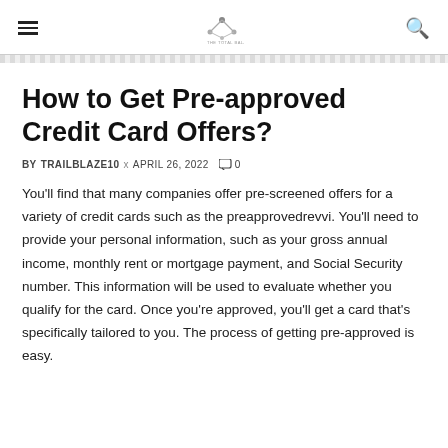Navigation menu, logo, search icon
How to Get Pre-approved Credit Card Offers?
BY TRAILBLAZE10 × APRIL 26, 2022  💬 0
You'll find that many companies offer pre-screened offers for a variety of credit cards such as the preapprovedrevvi. You'll need to provide your personal information, such as your gross annual income, monthly rent or mortgage payment, and Social Security number. This information will be used to evaluate whether you qualify for the card. Once you're approved, you'll get a card that's specifically tailored to you. The process of getting pre-approved is easy.